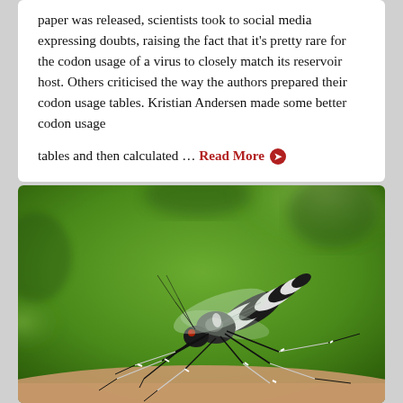paper was released, scientists took to social media expressing doubts, raising the fact that it's pretty rare for the codon usage of a virus to closely match its reservoir host. Others criticised the way the authors prepared their codon usage tables. Kristian Andersen made some better codon usage tables and then calculated … Read More ➡
[Figure (photo): Close-up macro photograph of a tiger mosquito (Aedes albopictus) on a surface, with green blurred background. The mosquito has distinctive black and white striped markings on its legs and body.]